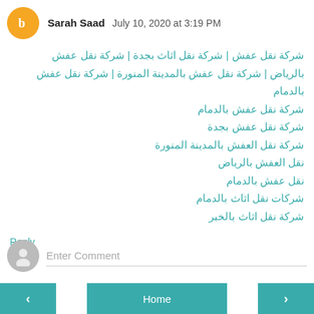Sarah Saad  July 10, 2020 at 3:19 PM
شركة نقل عفش | شركة نقل اثاث بجدة | شركة نقل عفش بالرياض | شركة نقل عفش بالمدينة المنورة | شركة نقل عفش بالدمام
شركة نقل عفش بالدمام
شركة نقل عفش بجدة
شركة نقل العفش بالمدينة المنورة
نقل العفش بالرياض
نقل عفش بالدمام
شركات نقل اثاث بالدمام
شركة نقل اثاث بالخبر
Reply
Enter Comment
‹  Home  ›